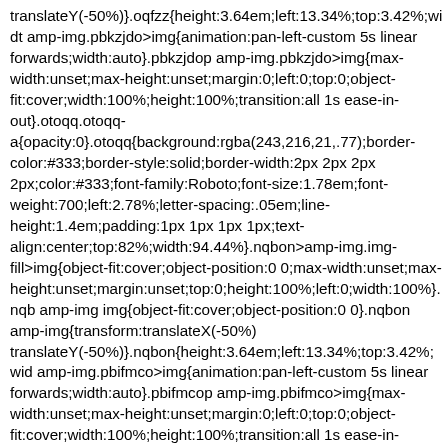translateY(-50%)}.oqfzz{height:3.64em;left:13.34%;top:3.42%;widt amp-img.pbkzjdo>img{animation:pan-left-custom 5s linear forwards;width:auto}.pbkzjdop amp-img.pbkzjdo>img{max-width:unset;max-height:unset;margin:0;left:0;top:0;object-fit:cover;width:100%;height:100%;transition:all 1s ease-in-out}.otoqq.otoqq-a{opacity:0}.otoqq{background:rgba(243,216,21,.77);border-color:#333;border-style:solid;border-width:2px 2px 2px 2px;color:#333;font-family:Roboto;font-size:1.78em;font-weight:700;left:2.78%;letter-spacing:.05em;line-height:1.4em;padding:1px 1px 1px 1px;text-align:center;top:82%;width:94.44%}.nqbon>amp-img.img-fill>img{object-fit:cover;object-position:0 0;max-width:unset;max-height:unset;margin:unset;top:0;height:100%;left:0;width:100%}.nqb amp-img img{object-fit:cover;object-position:0 0}.nqbon amp-img{transform:translateX(-50%) translateY(-50%)}.nqbon{height:3.64em;left:13.34%;top:3.42%;wid amp-img.pbifmco>img{animation:pan-left-custom 5s linear forwards;width:auto}.pbifmcop amp-img.pbifmco>img{max-width:unset;max-height:unset;margin:0;left:0;top:0;object-fit:cover;width:100%;height:100%;transition:all 1s ease-in-out}.gpklc.gpklc-a{opacity:0}.gpklc{background:rgba(243,216,21,.77);border-color:#333;border-style:solid;border-width:2px 2px 2px